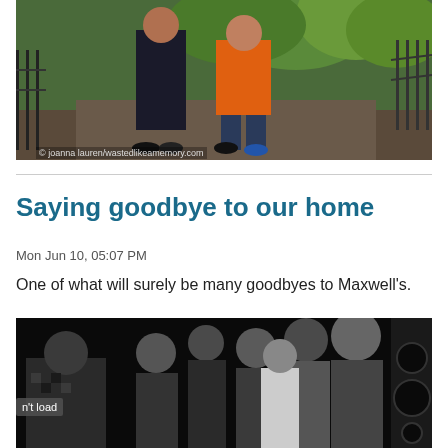[Figure (photo): Two people standing outdoors near a metal fence with green trees in background. One person wearing an orange t-shirt. Photo credit: © joanna lauren/wastedlikeamemory.com]
Saying goodbye to our home
Mon Jun 10, 05:07 PM
One of what will surely be many goodbyes to Maxwell's.
[Figure (photo): Black and white photo of a group of people gathered together indoors, appears to be at a venue or bar. A speaker/PA system visible on the right side. An image-load error badge reading 'n't load' appears in lower left.]